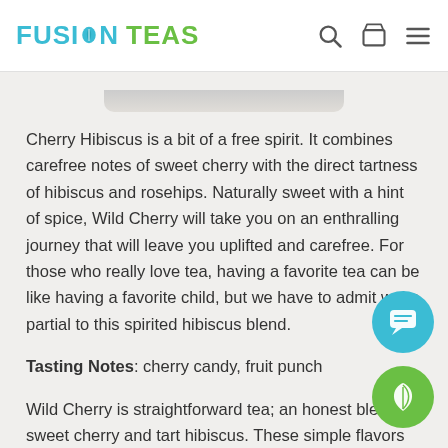FUSION TEAS
Cherry Hibiscus is a bit of a free spirit. It combines carefree notes of sweet cherry with the direct tartness of hibiscus and rosehips. Naturally sweet with a hint of spice, Wild Cherry will take you on an enthralling journey that will leave you uplifted and carefree. For those who really love tea, having a favorite tea can be like having a favorite child, but we have to admit we're partial to this spirited hibiscus blend.
Tasting Notes: cherry candy, fruit punch
Wild Cherry is straightforward tea; an honest blend of sweet cherry and tart hibiscus. These simple flavors create a compelling blend of pure fun and